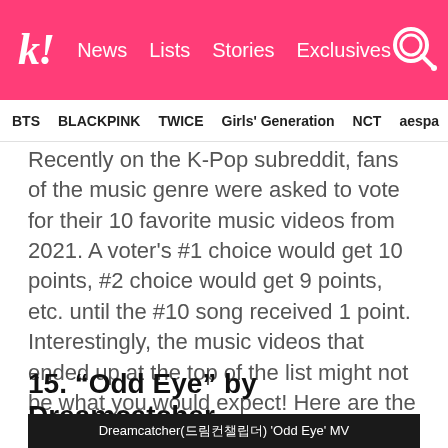k! News Lists Stories Exclusives
BTS BLACKPINK TWICE Girls' Generation NCT aespa
Recently on the K-Pop subreddit, fans of the music genre were asked to vote for their 10 favorite music videos from 2021. A voter's #1 choice would get 10 points, #2 choice would get 9 points, etc. until the #10 song received 1 point. Interestingly, the music videos that ended up at the top of the list might not be what you would expect! Here are the 15 best K-Pop music videos of the past year, chosen by K-Pop Redditors.
15. “Odd Eye” by Dreamcatcher
[Figure (screenshot): Video thumbnail showing Dreamcatcher(드림캐청더) 'Odd Eye' MV]